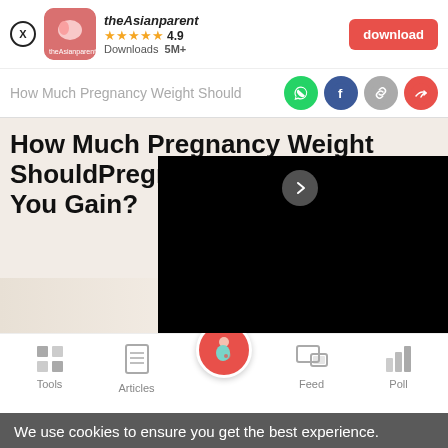[Figure (screenshot): theAsianparent app banner with icon, star rating 4.9, Downloads 5M+, and a red download button]
How Much Pregnancy Weight Should
[Figure (screenshot): Social share icons: WhatsApp (green), Facebook (blue), link (grey), share (red)]
How Much Pregnancy Weight Should You Gain?
[Figure (screenshot): Black video overlay with a right-arrow navigation button, partially covering the article title. A light-colored bedroom image strip is visible at the bottom left.]
[Figure (screenshot): Bottom navigation bar with icons for Tools, Articles, a pink circle home icon with pregnant woman, Feed, and Poll]
We use cookies to ensure you get the best experience.
Learn More   Ok, Got it